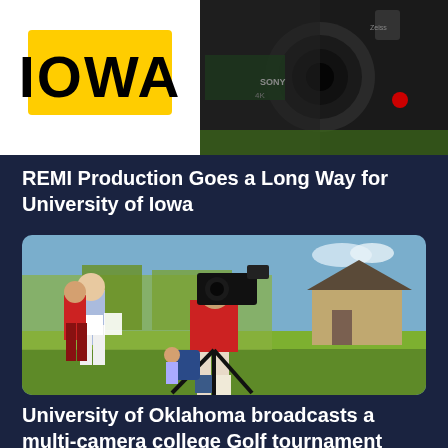[Figure (photo): Top banner image with University of Iowa logo on white background on the left and a close-up of a professional Sony 4K video camera on the right, with green outdoor background.]
REMI Production Goes a Long Way for University of Iowa
[Figure (photo): Outdoor photo of a cameraman carrying a large video camera on a tripod at a golf course, talking with a person in a blue shirt. Trees and a house visible in background.]
University of Oklahoma broadcasts a multi-camera college Golf tournament